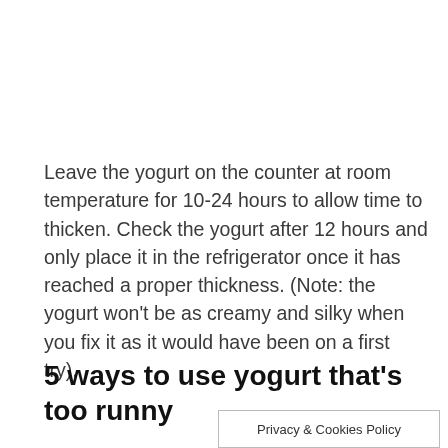Leave the yogurt on the counter at room temperature for 10-24 hours to allow time to thicken. Check the yogurt after 12 hours and only place it in the refrigerator once it has reached a proper thickness. (Note: the yogurt won't be as creamy and silky when you fix it as it would have been on a first try).
5 ways to use yogurt that's too runny
Privacy & Cookies Policy